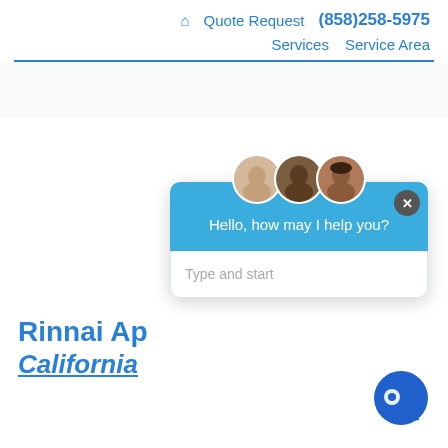🏠 Quote Request (858)258-5975 Services Service Area
[Figure (screenshot): Chat widget popup with three staff avatars, greeting message 'Hello, how may I help you?' and a text input area showing 'Type and start']
Rinnai Ap...
California
[Figure (logo): Blue circular chat/location icon in bottom right corner]